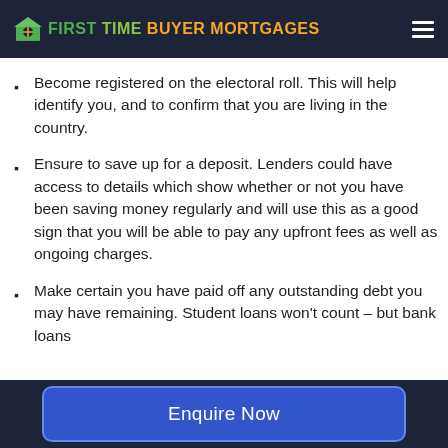FIRST TIME BUYER MORTGAGES
Become registered on the electoral roll. This will help identify you, and to confirm that you are living in the country.
Ensure to save up for a deposit. Lenders could have access to details which show whether or not you have been saving money regularly and will use this as a good sign that you will be able to pay any upfront fees as well as ongoing charges.
Make certain you have paid off any outstanding debt you may have remaining. Student loans won't count – but bank loans
Enquire Now